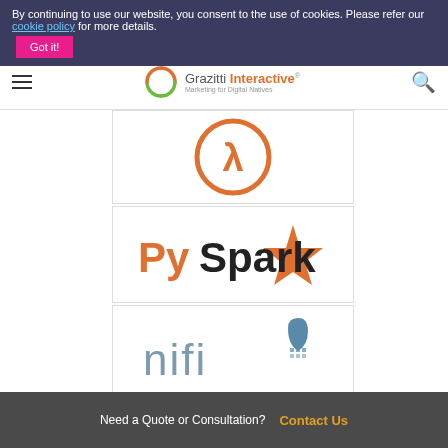By continuing to use our website, you consent to the use of cookies. Please refer our cookie policy for more details. Got it!
[Figure (logo): Grazitti Interactive logo with tagline 'Marketing for Digital Natives']
[Figure (logo): AWS Lambda logo - orange circle with lambda symbol]
[Figure (logo): PySpark logo - orange text with star icon]
[Figure (logo): Apache NiFi logo - grey text with blue water drop]
Need a Quote or Consultation? Contact Us